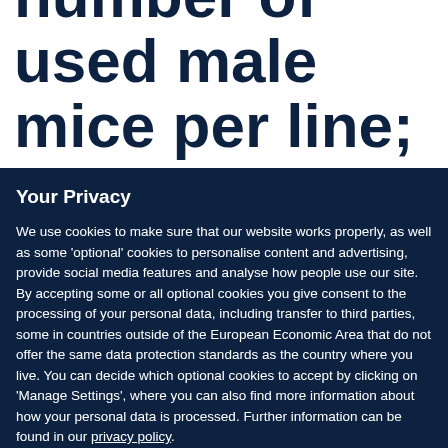shows the number of used male mice per line;
Your Privacy
We use cookies to make sure that our website works properly, as well as some ‘optional’ cookies to personalise content and advertising, provide social media features and analyse how people use our site. By accepting some or all optional cookies you give consent to the processing of your personal data, including transfer to third parties, some in countries outside of the European Economic Area that do not offer the same data protection standards as the country where you live. You can decide which optional cookies to accept by clicking on ‘Manage Settings’, where you can also find more information about how your personal data is processed. Further information can be found in our privacy policy.
Accept all cookies
Manage preferences